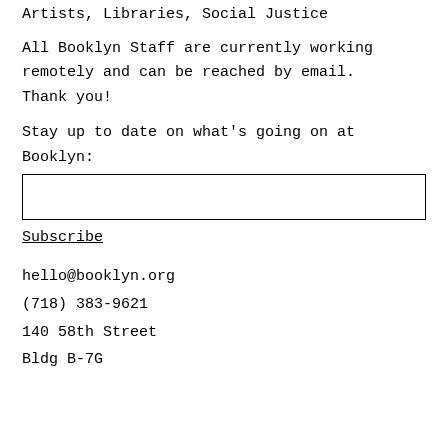Artists, Libraries, Social Justice
All Booklyn Staff are currently working remotely and can be reached by email. Thank you!
Stay up to date on what's going on at Booklyn:
Subscribe
hello@booklyn.org
(718) 383-9621
140 58th Street
Bldg B-7G